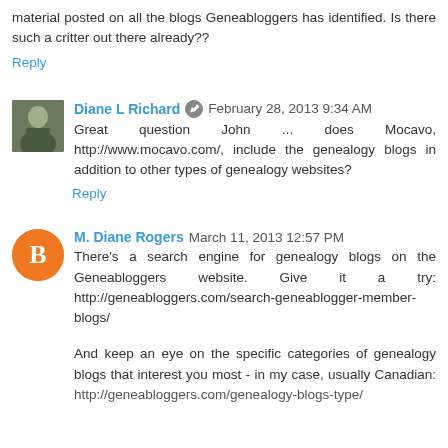material posted on all the blogs Geneabloggers has identified. Is there such a critter out there already??
Reply
Diane L Richard  February 28, 2013 9:34 AM
Great question John ... does Mocavo, http://www.mocavo.com/, include the genealogy blogs in addition to other types of genealogy websites?
Reply
M. Diane Rogers  March 11, 2013 12:57 PM
There's a search engine for genealogy blogs on the Geneabloggers website. Give it a try: http://geneabloggers.com/search-geneablogger-member-blogs/
And keep an eye on the specific categories of genealogy blogs that interest you most - in my case, usually Canadian: http://geneabloggers.com/genealogy-blogs-type/